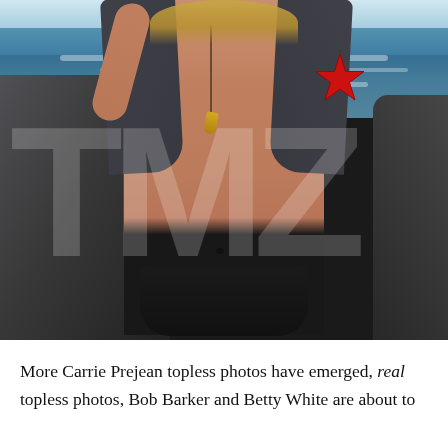[Figure (photo): A watermarked photo of a woman posing topless at a rocky ocean beach. She is wearing a dark jacket open at the front and dark bikini bottoms, with a red star covering one breast. She has a necklace with a tooth pendant. The ocean and rocks are visible in the background. A large TMZ watermark is overlaid on the image.]
More Carrie Prejean topless photos have emerged, real topless photos, Bob Barker and Betty White are about to